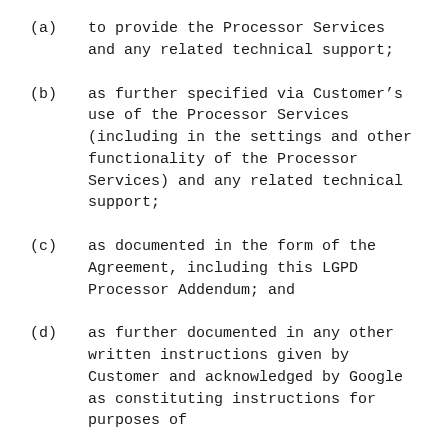(a) to provide the Processor Services and any related technical support;
(b) as further specified via Customer’s use of the Processor Services (including in the settings and other functionality of the Processor Services) and any related technical support;
(c) as documented in the form of the Agreement, including this LGPD Processor Addendum; and
(d) as further documented in any other written instructions given by Customer and acknowledged by Google as constituting instructions for purposes of